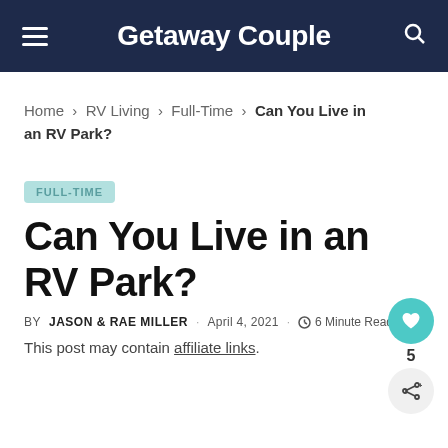Getaway Couple
Home > RV Living > Full-Time > Can You Live in an RV Park?
FULL-TIME
Can You Live in an RV Park?
BY JASON & RAE MILLER · APRIL 4, 2021 · 6 MINUTE READ
This post may contain affiliate links.